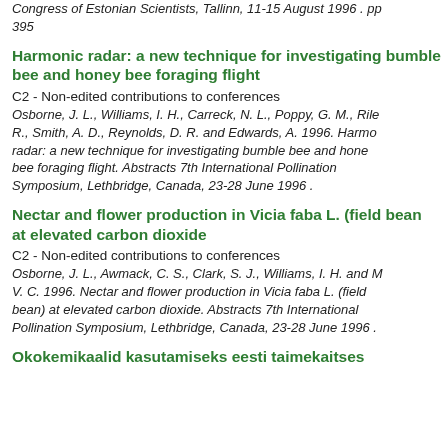Congress of Estonian Scientists, Tallinn, 11-15 August 1996 . pp 395
Harmonic radar: a new technique for investigating bumble bee and honey bee foraging flight
C2 - Non-edited contributions to conferences
Osborne, J. L., Williams, I. H., Carreck, N. L., Poppy, G. M., Riley, R., Smith, A. D., Reynolds, D. R. and Edwards, A. 1996. Harmonic radar: a new technique for investigating bumble bee and honey bee foraging flight. Abstracts 7th International Pollination Symposium, Lethbridge, Canada, 23-28 June 1996 .
Nectar and flower production in Vicia faba L. (field bean) at elevated carbon dioxide
C2 - Non-edited contributions to conferences
Osborne, J. L., Awmack, C. S., Clark, S. J., Williams, I. H. and M. V. C. 1996. Nectar and flower production in Vicia faba L. (field bean) at elevated carbon dioxide. Abstracts 7th International Pollination Symposium, Lethbridge, Canada, 23-28 June 1996 .
Okokemikaalid kasutamiseks eesti taimekaitses